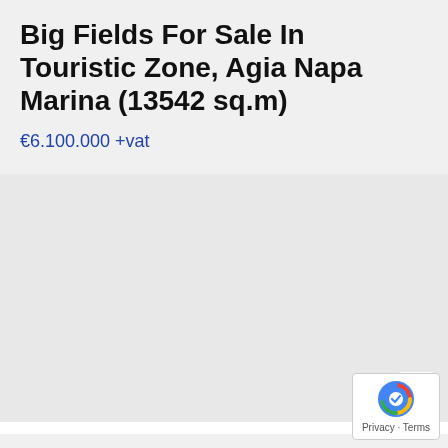Big Fields For Sale In Touristic Zone, Agia Napa Marina (13542 sq.m)
€6.100.000 +vat
[Figure (photo): Property listing image placeholder — light grey background]
Land For Sale In Agios Theodor...